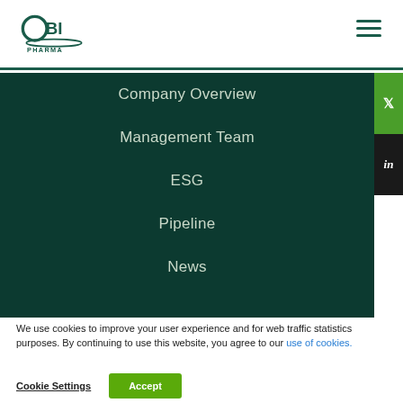[Figure (logo): OBI Pharma logo — circular green O with 'OBI' text and 'PHARMA' below]
Company Overview
Management Team
ESG
Pipeline
News
We use cookies to improve your user experience and for web traffic statistics purposes. By continuing to use this website, you agree to our use of cookies.
Cookie Settings  Accept